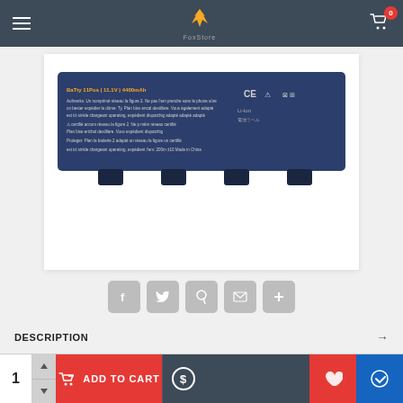[Figure (screenshot): FoxStore e-commerce website header with hamburger menu, fox logo, and shopping cart icon with badge showing 0]
[Figure (photo): Dark navy laptop battery with certification labels and Li-Ion markings, viewed from the top/label side showing connector contacts on bottom edge]
[Figure (other): Row of social share buttons: Facebook, Twitter, Pinterest, Email, and a plus button, all in grey rounded squares]
DESCRIPTION
REVIEWS
[Figure (other): Bottom bar with quantity selector (1), Add to Cart red button, dollar icon button, wishlist heart button (red), and compare/swap button (blue)]